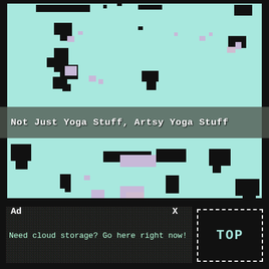[Figure (illustration): Pixelated abstract art on mint/turquoise background with scattered black pixel blobs and lavender/pink pixel clusters, resembling a low-resolution digital camouflage or glitch art pattern. A semi-transparent dark gray horizontal banner overlays the middle with white bold monospace text reading 'Not Just Yoga Stuff, Artsy Yoga Stuff'.]
Not Just Yoga Stuff, Artsy Yoga Stuff
Ad
X
Need cloud storage? Go here right now!
TOP